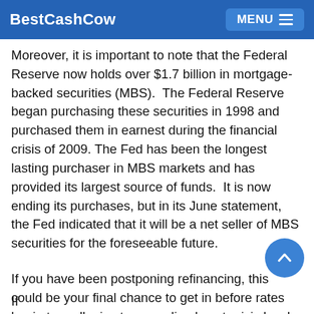BestCashCow | MENU
rate could reach 5 to 5.50% by 2019.
Moreover, it is important to note that the Federal Reserve now holds over $1.7 billion in mortgage-backed securities (MBS). The Federal Reserve began purchasing these securities in 1998 and purchased them in earnest during the financial crisis of 2009. The Fed has been the longest lasting purchaser in MBS markets and has provided its largest source of funds. It is now ending its purchases, but in its June statement, the Fed indicated that it will be a net seller of MBS securities for the foreseeable future.
If you have been postponing refinancing, this could be your final chance to get in before rates begin to really rise to normalized post-crisis levels.
If